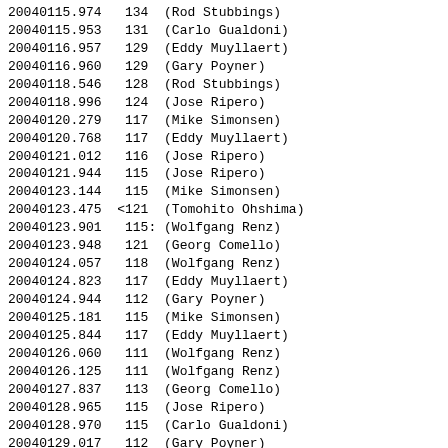| JD | Mag | Observer |
| --- | --- | --- |
| 20040115.974 | 134 | (Rod Stubbings) |
| 20040115.953 | 131 | (Carlo Gualdoni) |
| 20040116.957 | 129 | (Eddy Muyllaert) |
| 20040116.960 | 129 | (Gary Poyner) |
| 20040118.546 | 128 | (Rod Stubbings) |
| 20040118.996 | 124 | (Jose Ripero) |
| 20040120.279 | 117 | (Mike Simonsen) |
| 20040120.768 | 117 | (Eddy Muyllaert) |
| 20040121.012 | 116 | (Jose Ripero) |
| 20040121.944 | 115 | (Jose Ripero) |
| 20040123.144 | 115 | (Mike Simonsen) |
| 20040123.475 | <121 | (Tomohito Ohshima) |
| 20040123.901 | 115: | (Wolfgang Renz) |
| 20040123.948 | 121 | (Georg Comello) |
| 20040124.057 | 118 | (Wolfgang Renz) |
| 20040124.823 | 117 | (Eddy Muyllaert) |
| 20040124.944 | 112 | (Gary Poyner) |
| 20040125.181 | 115 | (Mike Simonsen) |
| 20040125.844 | 117 | (Eddy Muyllaert) |
| 20040126.060 | 111 | (Wolfgang Renz) |
| 20040126.125 | 111 | (Wolfgang Renz) |
| 20040127.837 | 113 | (Georg Comello) |
| 20040128.965 | 115 | (Jose Ripero) |
| 20040128.970 | 115 | (Carlo Gualdoni) |
| 20040129.017 | 112 | (Gary Poyner) |
| 20040129.829 | 116 | (Eddy Muyllaert) |
| 20040129.921 | 112 | (Carlo Gualdoni) |
| 20040130.184 | 113 | (Mike Simonsen) |
| 20040131.049 | 116 | (Stanislaw Swierczynski) |
| 20040201.2834 | 12.149V | (ASAS (Pojmanski, G. 2002, Acta |
| 20040202.075 | 109 | (Wolfgang Renz) |